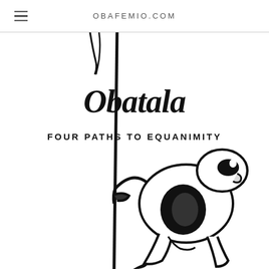OBAFEMIO.COM
Obatala
FOUR PATHS TO EQUANIMITY
[Figure (illustration): Black and white illustration of a stylized meerkat or small animal figure standing upright next to a tall pole or staff, looking upward. The drawing has a bold, graphic style with thick black outlines on a white background.]